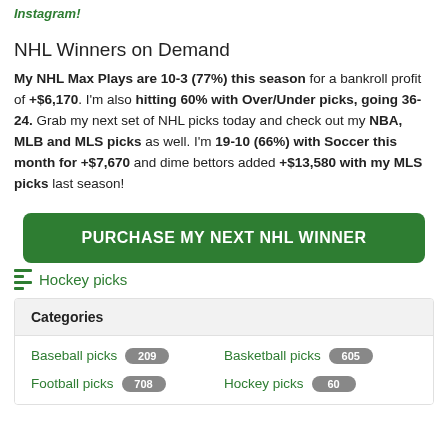Instagram!
NHL Winners on Demand
My NHL Max Plays are 10-3 (77%) this season for a bankroll profit of +$6,170. I'm also hitting 60% with Over/Under picks, going 36-24. Grab my next set of NHL picks today and check out my NBA, MLB and MLS picks as well. I'm 19-10 (66%) with Soccer this month for +$7,670 and dime bettors added +$13,580 with my MLS picks last season!
PURCHASE MY NEXT NHL WINNER
Hockey picks
| Categories |
| --- |
| Baseball picks | 209 | Basketball picks | 605 |
| Football picks | 708 | Hockey picks | 60 |